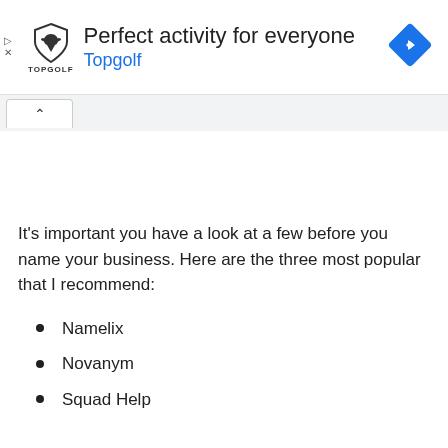[Figure (screenshot): Topgolf advertisement banner with shield logo, text 'Perfect activity for everyone', 'Topgolf' in blue, and a blue navigation diamond icon on the right. Play and close controls on the left.]
It's important you have a look at a few before you name your business. Here are the three most popular that I recommend:
Namelix
Novanym
Squad Help